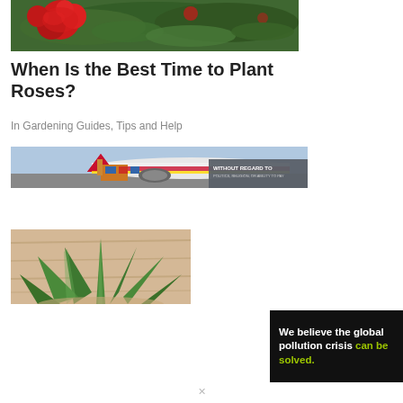[Figure (photo): Close-up photo of red roses and green leaves]
When Is the Best Time to Plant Roses?
In Gardening Guides, Tips and Help
[Figure (photo): Airline banner advertisement showing cargo plane with text WITHOUT REGARD TO POLITICS, RELIGION, OR ABILITY TO PAY]
[Figure (photo): Photo of aloe vera plant with green spiky leaves on wooden background]
[Figure (infographic): Black advertisement banner with text: We believe the global pollution crisis can be solved. (can be solved in green)]